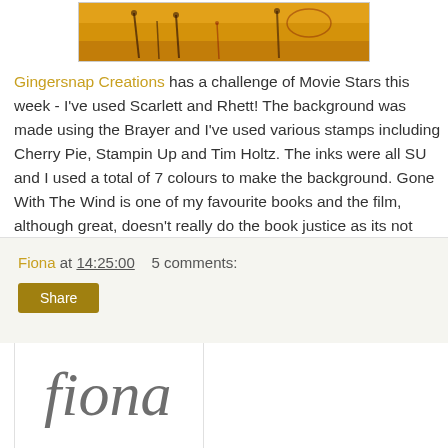[Figure (illustration): Partial view of a mixed-media artwork with warm golden/amber tones, showing plant-like silhouettes and abstract marks on a textured background.]
Gingersnap Creations has a challenge of Movie Stars this week - I've used Scarlett and Rhett! The background was made using the Brayer and I've used various stamps including Cherry Pie, Stampin Up and Tim Holtz. The inks were all SU and I used a total of 7 colours to make the background. Gone With The Wind is one of my favourite books and the film, although great, doesn't really do the book justice as its not just about a love story but is far more gritty.
[Figure (illustration): Handwritten-style signature reading 'fiona' in an italic, calligraphy-like script on a white background with a light border.]
Fiona at 14:25:00    5 comments:
Share